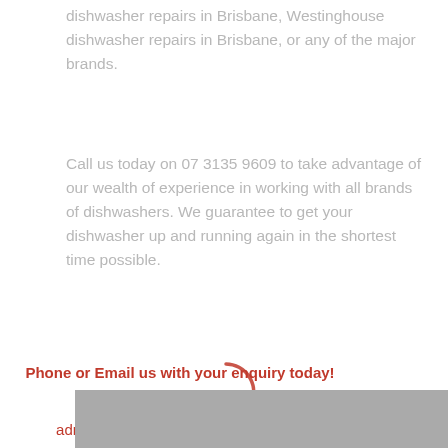dishwasher repairs in Brisbane, Westinghouse dishwasher repairs in Brisbane, or any of the major brands.
Call us today on 07 3135 9609 to take advantage of our wealth of experience in working with all brands of dishwashers. We guarantee to get your dishwasher up and running again in the shortest time possible.
Phone or Email us with your enquiry today!
(07) 3135-9609
admin@alwayspromptrepairs.com.au
[Figure (photo): Gray placeholder image at bottom of page]